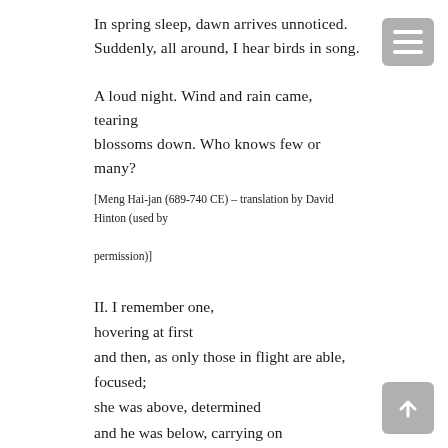In spring sleep, dawn arrives unnoticed.
Suddenly, all around, I hear birds in song.

A loud night. Wind and rain came, tearing
blossoms down. Who knows few or many?
[Meng Hai-jan (689-740 CE) – translation by David Hinton (used by permission)]
II. I remember one,
hovering at first
and then, as only those in flight are able, focused;
she was above, determined
and he was below, carrying on
into the keening wind and rain.
We have a problem, I thought.